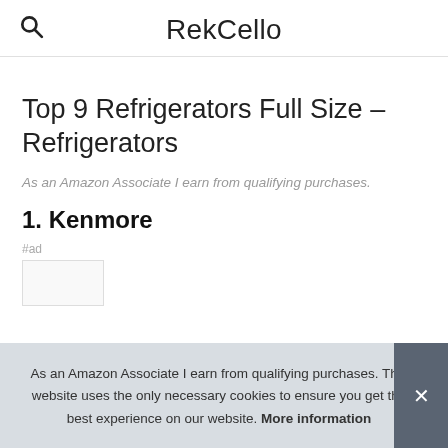RekCello
Top 9 Refrigerators Full Size – Refrigerators
As an Amazon Associate I earn from qualifying purchases.
1. Kenmore
#ad
As an Amazon Associate I earn from qualifying purchases. This website uses the only necessary cookies to ensure you get the best experience on our website. More information